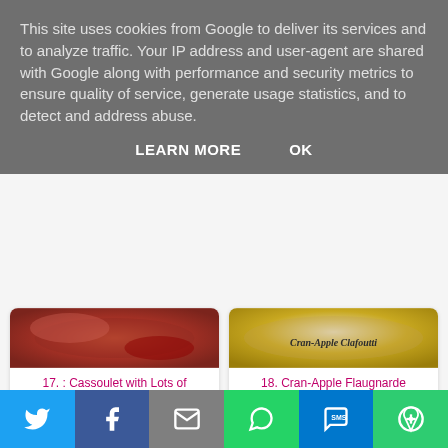This site uses cookies from Google to deliver its services and to analyze traffic. Your IP address and user-agent are shared with Google along with performance and security metrics to ensure quality of service, generate usage statistics, and to detect and address abuse.
LEARN MORE    OK
[Figure (photo): Partial view of Cassoulet with Lots of Vegetables dish]
17. : Cassoulet with Lots of Vegetables
[Figure (photo): Cran-Apple Clafoutti dish with text overlay]
18. Cran-Apple Flaugnarde
[Figure (photo): PicNic: Peanut Butter and Chocolate cake]
19. PicNic: Peanut Butter and Chocolate
[Figure (photo): Old Ladies On A Bus chicken dish]
20. Old Ladies On A Bus ( Chicken
[Figure (infographic): Social sharing bar with Twitter, Facebook, Email, WhatsApp, SMS, and More buttons]